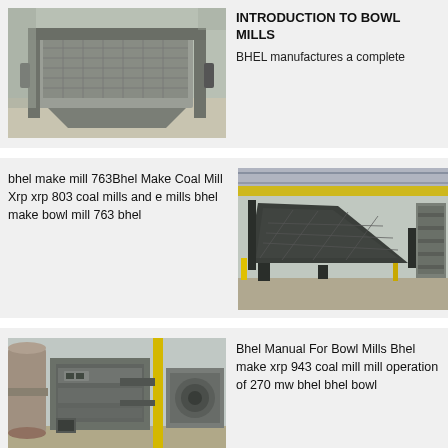[Figure (photo): Industrial vibrating screen or sieve equipment, metallic gray, photographed outdoors]
INTRODUCTION TO BOWL MILLS
BHEL manufactures a complete
bhel make mill 763Bhel Make Coal Mill Xrp xrp 803 coal mills and e mills bhel make bowl mill 763 bhel
[Figure (photo): Large industrial bowl mill or screening equipment inside a factory/warehouse with yellow crane overhead]
[Figure (photo): Industrial machinery with pipes and equipment, including yellow structural elements, inside a facility]
Bhel Manual For Bowl Mills Bhel make xrp 943 coal mill mill operation of 270 mw bhel bhel bowl